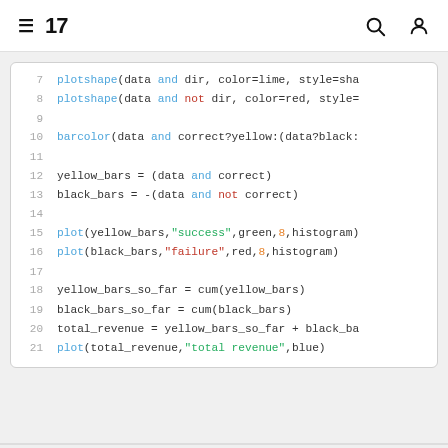≡ 17 [search icon] [user icon]
7  plotshape(data and dir, color=lime, style=sha
8  plotshape(data and not dir, color=red, style=
9
10 barcolor(data and correct?yellow:(data?black:
11
12 yellow_bars = (data and correct)
13 black_bars = -(data and not correct)
14
15 plot(yellow_bars,"success",green,8,histogram)
16 plot(black_bars,"failure",red,8,histogram)
17
18 yellow_bars_so_far = cum(yellow_bars)
19 black_bars_so_far = cum(black_bars)
20 total_revenue = yellow_bars_so_far + black_ba
21 plot(total_revenue,"total revenue",blue)